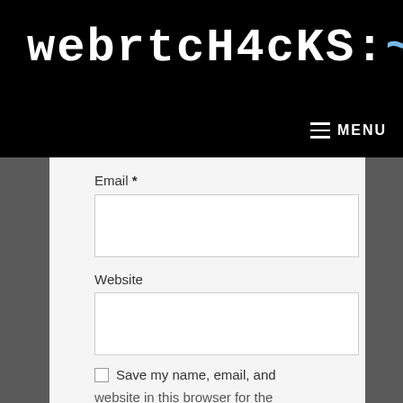webrtcH4cKS:~$
MENU
Email *
Website
Save my name, email, and website in this browser for the